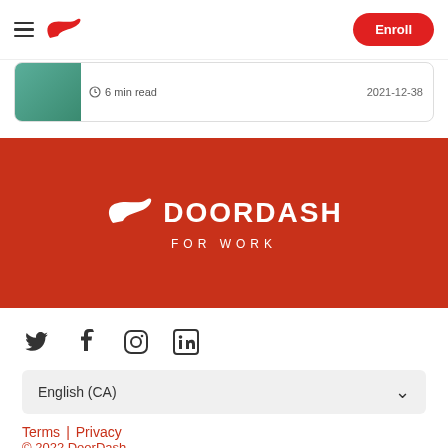DoorDash for Work — Enroll
[Figure (screenshot): Partially visible article card with thumbnail image, '6 min read' text and date '2021-12-38']
[Figure (logo): DoorDash For Work logo on red background — wing/arrow icon, DOORDASH text, FOR WORK subtitle]
[Figure (infographic): Social media icons: Twitter, Facebook, Instagram, LinkedIn]
English (CA)
Terms | Privacy
© 2022 DoorDash